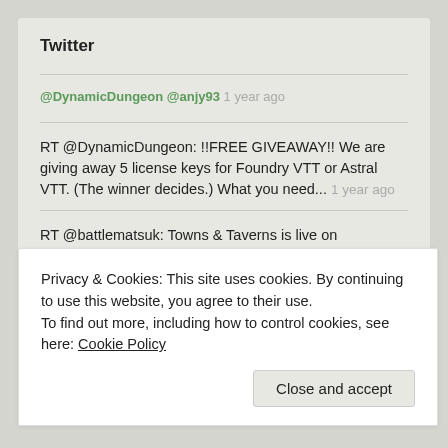Twitter
@DynamicDungeon @anjy93 1 year ago
RT @DynamicDungeon: !!FREE GIVEAWAY!! We are giving away 5 license keys for Foundry VTT or Astral VTT. (The winner decides.) What you need... 1 year ago
RT @battlematsuk: Towns & Taverns is live on Kickstarter now! bit.ly/3aaYnrE 2 modular battle map books of fantasy urban maps whic... 2 years ago
Privacy & Cookies: This site uses cookies. By continuing to use this website, you agree to their use.
To find out more, including how to control cookies, see here: Cookie Policy
Close and accept